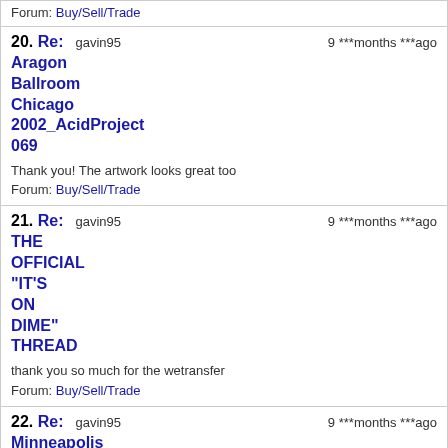Forum: Buy/Sell/Trade
20. Re: Aragon Ballroom Chicago 2002_AcidProject 069 — gavin95 — 9 ***months ***ago
Thank you! The artwork looks great too
Forum: Buy/Sell/Trade
21. Re: THE OFFICIAL "IT'S ON DIME" THREAD — gavin95 — 9 ***months ***ago
thank you so much for the wetransfer
Forum: Buy/Sell/Trade
22. Re: Minneapolis show live updates — gavin95 — 9 ***months ***ago